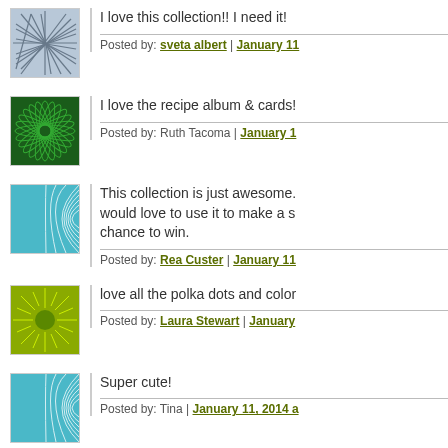I love this collection!! I need it!
Posted by: sveta albert | January 11
[Figure (photo): Avatar thumbnail with blue-grey abstract line pattern]
I love the recipe album & cards!
Posted by: Ruth Tacoma | January 1
[Figure (photo): Avatar thumbnail with green spiral swirl pattern]
This collection is just awesome. would love to use it to make a sc chance to win.
Posted by: Rea Custer | January 11
[Figure (photo): Avatar thumbnail with cyan/teal geometric arc pattern]
love all the polka dots and color
Posted by: Laura Stewart | January
[Figure (photo): Avatar thumbnail with yellow-green sunburst pattern]
Super cute!
Posted by: Tina | January 11, 2014 a
[Figure (photo): Avatar thumbnail with cyan/teal geometric arc pattern]